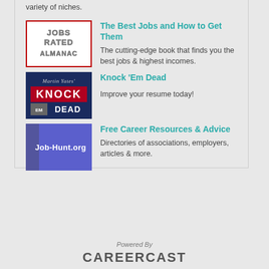variety of niches.
[Figure (logo): Jobs Rated Almanac logo — white background with red border and bold silver/gray 3D-style text]
The Best Jobs and How to Get Them
The cutting-edge book that finds you the best jobs & highest incomes.
[Figure (logo): Knock Em Dead book cover — dark navy background, italic script 'Martin Yates' at top, large red KNOCK with white EM DEAD below]
Knock 'Em Dead
Improve your resume today!
[Figure (logo): Job-Hunt.org logo — blue/purple background with white text 'Job-Hunt.org' and textured left edge]
Free Career Resources & Advice
Directories of associations, employers, articles & more.
Powered By CAREERCAST